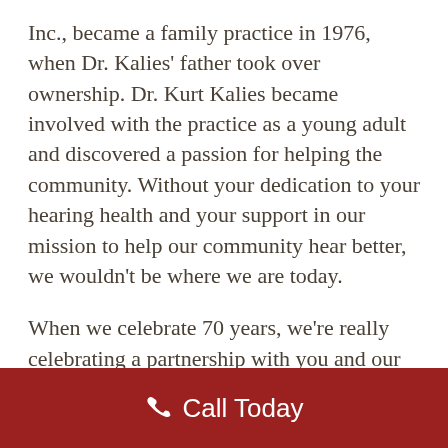Inc., became a family practice in 1976, when Dr. Kalies' father took over ownership. Dr. Kurt Kalies became involved with the practice as a young adult and discovered a passion for helping the community. Without your dedication to your hearing health and your support in our mission to help our community hear better, we wouldn't be where we are today.
When we celebrate 70 years, we're really celebrating a partnership with you and our collective dedication to helping you hear better. You have helped us become the most inclusive choice for hearing care and
Call Today